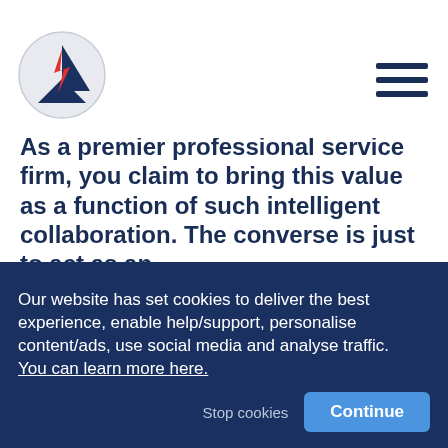[Figure (logo): Circular logo with dark blue triangle and red arrow/lightning bolt shapes]
As a premier professional service firm, you claim to bring this value as a function of such intelligent collaboration. The converse is just to act as an
Our website has set cookies to deliver the best experience, enable help/support, personalise content/ads, use social media and analyse traffic.
You can learn more here.
Stop cookies
Continue
only one contact (chat/email) away from a ready-to-help colleague who does.
This collaborative back-up to the actual consultant/advisor at the coalface is manifestly